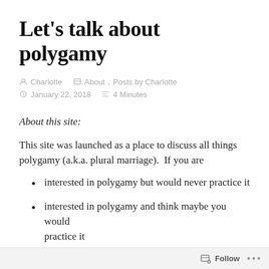Let's talk about polygamy
Charlotte   About, Posts by Charlotte   January 22, 2018   4 Minutes
About this site:
This site was launched as a place to discuss all things polygamy (a.k.a. plural marriage).  If you are
interested in polygamy but would never practice it
interested in polygamy and think maybe you would practice it
Follow ...